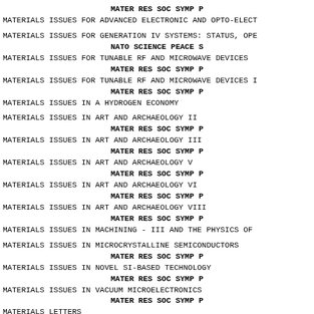MATER RES SOC SYMP P
MATERIALS ISSUES FOR ADVANCED ELECTRONIC AND OPTO-ELECT
MATERIALS ISSUES FOR GENERATION IV SYSTEMS: STATUS, OPE
NATO SCIENCE PEACE S
MATERIALS ISSUES FOR TUNABLE RF AND MICROWAVE DEVICES
MATER RES SOC SYMP P
MATERIALS ISSUES FOR TUNABLE RF AND MICROWAVE DEVICES I
MATER RES SOC SYMP P
MATERIALS ISSUES IN A HYDROGEN ECONOMY
MATERIALS ISSUES IN ART AND ARCHAEOLOGY II
MATER RES SOC SYMP P
MATERIALS ISSUES IN ART AND ARCHAEOLOGY III
MATER RES SOC SYMP P
MATERIALS ISSUES IN ART AND ARCHAEOLOGY V
MATER RES SOC SYMP P
MATERIALS ISSUES IN ART AND ARCHAEOLOGY VI
MATER RES SOC SYMP P
MATERIALS ISSUES IN ART AND ARCHAEOLOGY VIII
MATER RES SOC SYMP P
MATERIALS ISSUES IN MACHINING - III AND THE PHYSICS OF
MATERIALS ISSUES IN MICROCRYSTALLINE SEMICONDUCTORS
MATER RES SOC SYMP P
MATERIALS ISSUES IN NOVEL SI-BASED TECHNOLOGY
MATER RES SOC SYMP P
MATERIALS ISSUES IN VACUUM MICROELECTRONICS
MATER RES SOC SYMP P
MATERIALS LETTERS